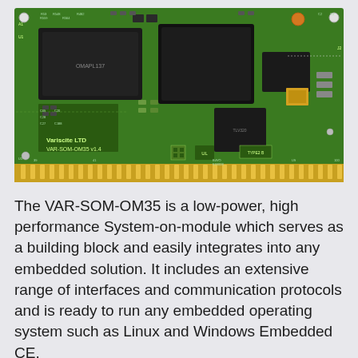[Figure (photo): Photo of a VAR-SOM-OM35 v1.4 System-on-Module circuit board by Variscite LTD, showing a green PCB with multiple ICs, memory chips, capacitors, resistors, and a gold edge connector. Board markings include 'Variscite LTD', 'VAR-SOM-OM35 v1.4', various component labels (R53, R548, R482, R559, C69, C20, C28, C27, C188, C21, C53, U1, U5, U9, Y2, etc.), and certification marks including UL and TYPE2 B.]
The VAR-SOM-OM35 is a low-power, high performance System-on-module which serves as a building block and easily integrates into any embedded solution. It includes an extensive range of interfaces and communication protocols and is ready to run any embedded operating system such as Linux and Windows Embedded CE.